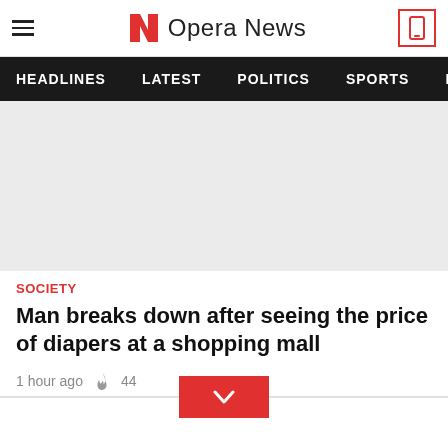Opera News
[Figure (other): Navigation bar with menu items: HEADLINES, LATEST, POLITICS, SPORTS]
[Figure (photo): Article image placeholder (light gray background)]
SOCIETY
Man breaks down after seeing the price of diapers at a shopping mall
1 hour ago  44
[Figure (other): Expand chevron button (red button with down arrow, centered in a horizontal divider bar)]